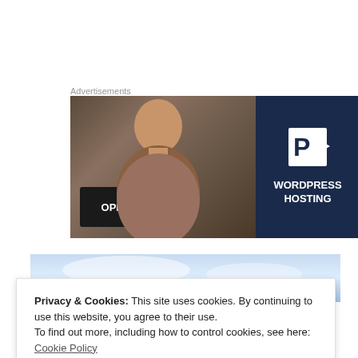Advertisements
[Figure (photo): Advertisement banner showing a smiling woman holding an OPEN sign on the left (photo) and a dark navy panel on the right with a white P logo and text WORDPRESS HOSTING]
[Figure (photo): Partial image showing a blue sky background, partially obscured by cookie banner]
Privacy & Cookies: This site uses cookies. By continuing to use this website, you agree to their use.
To find out more, including how to control cookies, see here:
Cookie Policy
Close and accept